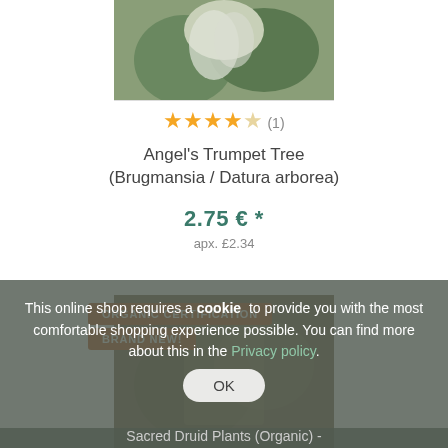[Figure (photo): Product photo of Angel's Trumpet Tree plant, showing white/grey flowers and green foliage]
★★★★☆ (1)
Angel's Trumpet Tree (Brugmansia / Datura arborea)
2.75 € *
apx. £2.34
ORGANIC CERTIFICATION
BRAND NEW!
[Figure (photo): Second product image partially visible behind overlay - Sacred Druid Plants seeds packet]
This online shop requires a cookie to provide you with the most comfortable shopping experience possible. You can find more about this in the Privacy policy.
OK
Sacred Druid Plants (Organic) -